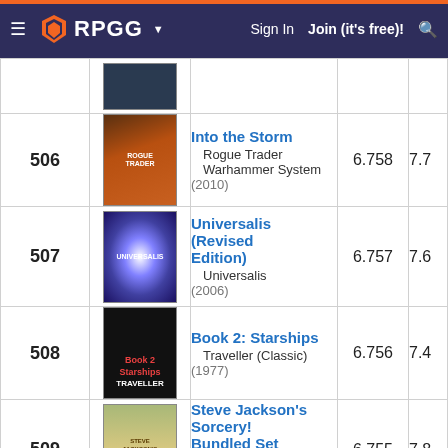[Figure (screenshot): RPGG website navigation bar with logo, Sign In, Join (it's free)!, and search icon on dark purple background]
| Rank | Image | Title / System / Year | Score | Score2 |
| --- | --- | --- | --- | --- |
| 506 | [img] | Into the Storm
Rogue Trader
Warhammer System
(2010) | 6.758 | 7.7 |
| 507 | [img] | Universalis (Revised Edition)
Universalis
(2006) | 6.757 | 7.6 |
| 508 | [img] | Book 2: Starships
Traveller (Classic)
(1977) | 6.756 | 7.4 |
| 509 | [img] | Steve Jackson's Sorcery! Bundled Set
Fighting Fantasy Gamebooks
(1985) | 6.755 | 7.8 |
| [partial] | [img] | Omens of War
Warhammer Fantasy Roleplay |  |  |